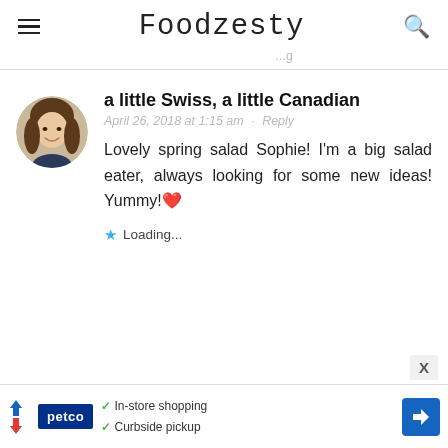Foodzesty
...g
a little Swiss, a little Canadian
April 26, 2018 at 1:15 am · Reply
Lovely spring salad Sophie! I'm a big salad eater, always looking for some new ideas! Yummy!❤️
⭐ Loading...
[Figure (photo): Circular avatar photo of a young woman with long brown hair, smiling]
X
In-store shopping
Curbside pickup